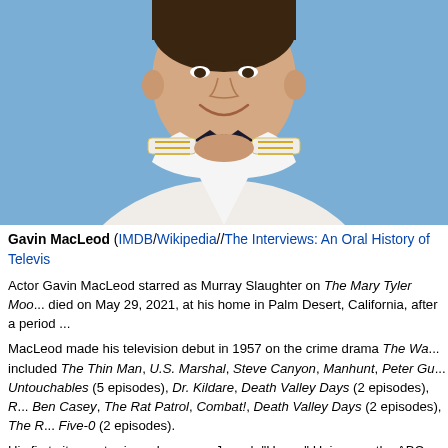[Figure (photo): Gavin MacLeod in a white naval/captain uniform with gold epaulettes and a large black bow tie, smiling, against a blue background. The photo is cropped to show head and upper torso.]
Gavin MacLeod (IMDB/Wikipedia//The Interviews: An Oral History of Televis...
Actor Gavin MacLeod starred as Murray Slaughter on The Mary Tyler Moo... died on May 29, 2021, at his home in Palm Desert, California, after a period ...
MacLeod made his television debut in 1957 on the crime drama The Wa... included The Thin Man, U.S. Marshal, Steve Canyon, Manhunt, Peter Gu... Untouchables (5 episodes), Dr. Kildare, Death Valley Days (2 episodes), R... Ben Casey, The Rat Patrol, Combat!, Death Valley Days (2 episodes), The R... Five-0 (2 episodes).
His first sitcom starring role was as Joseph "Happy" Haines on the ABC sit... seasons from 1962 to 1964 before leaving to appear in the film The Sand... films McHale's Navy (1964) and McHale's Navy Joins the Air Force (1965). T... Joe Flynn, Tim Conway, Carl Ballantine, Gary Vinson, Billy Sands, Edson Str...
MacLeod's breakout role was as Murray Slaughter on the 1970-1977 CBS s... 168 episodes. Murray Slaughter was the head writer of WJM-TV's Six O'Cl... nominations for Best Supporting Actor in 1975 and 1977 for the role. The s... Valerie Harper (1970-1974), Cloris Leachman (1970-1975), Georgia Engel (1...